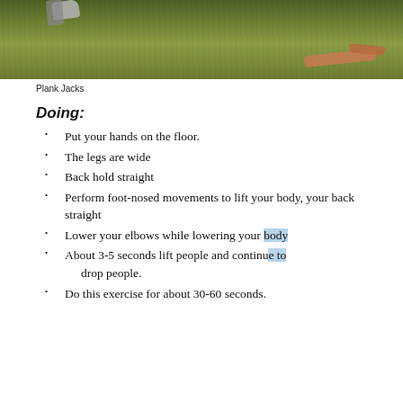[Figure (photo): Photo of a person performing plank jacks exercise on a grass surface, showing legs wide apart and arms on the ground.]
Plank Jacks
Doing:
Put your hands on the floor.
The legs are wide
Back hold straight
Perform foot-nosed movements to lift your body, your back straight
Lower your elbows while lowering your body
About 3-5 seconds lift people and continue to drop people.
Do this exercise for about 30-60 seconds.